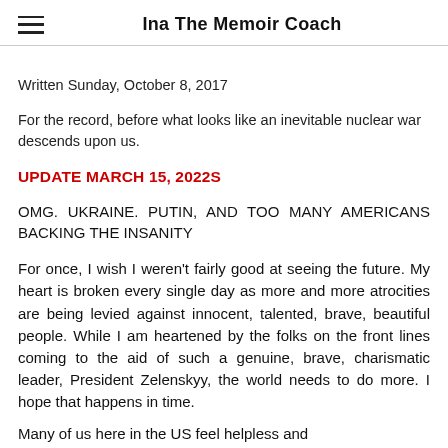Ina The Memoir Coach
Written Sunday, October 8, 2017
For the record, before what looks like an inevitable nuclear war descends upon us.
UPDATE MARCH 15, 2022S
OMG. UKRAINE. PUTIN, AND TOO MANY AMERICANS BACKING THE INSANITY
For once, I wish I weren't fairly good at seeing the future. My heart is broken every single day as more and more atrocities are being levied against innocent, talented, brave, beautiful people. While I am heartened by the folks on the front lines coming to the aid of such a genuine, brave, charismatic leader, President Zelenskyy,  the world needs to do more. I hope that happens in time.
Many of us here in the US feel helpless and...